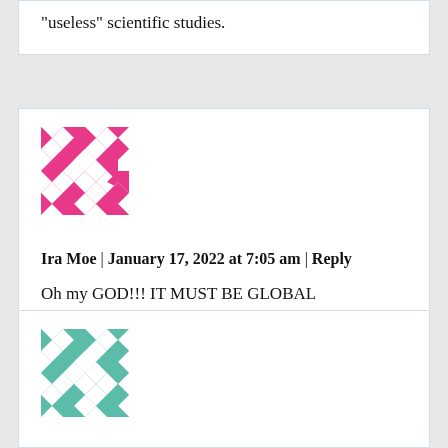“useless” scientific studies.
[Figure (illustration): Pink geometric quilt-pattern avatar for user Ira Moe]
Ira Moe | January 17, 2022 at 7:05 am | Reply
Oh my GOD!!! IT MUST BE GLOBAL WARMING!!!
[Figure (illustration): Teal geometric quilt-pattern avatar for user Cho]
Cho | January 17, 2022 at 7:10 am | Reply